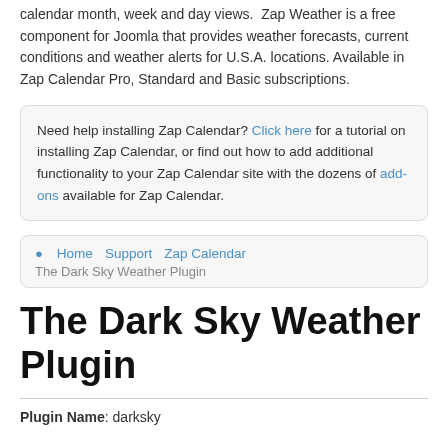calendar month, week and day views.  Zap Weather is a free component for Joomla that provides weather forecasts, current conditions and weather alerts for U.S.A. locations. Available in Zap Calendar Pro, Standard and Basic subscriptions.
Need help installing Zap Calendar? Click here for a tutorial on installing Zap Calendar, or find out how to add additional functionality to your Zap Calendar site with the dozens of add-ons available for Zap Calendar.
Home  Support  Zap Calendar  The Dark Sky Weather Plugin
The Dark Sky Weather Plugin
Plugin Name: darksky